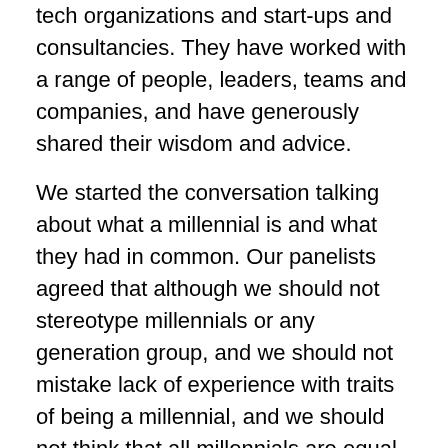tech organizations and start-ups and consultancies. They have worked with a range of people, leaders, teams and companies, and have generously shared their wisdom and advice.
We started the conversation talking about what a millennial is and what they had in common. Our panelists agreed that although we should not stereotype millennials or any generation group, and we should not mistake lack of experience with traits of being a millennial, and we should not think that all millennials are equal, millennials do have some similar traits.
Millennials like to chase ‘bright, shiny objects’, in the work context and outside it. To motivate a millennial on the team, speak about projects so that they are motivated to participate, and allow them to move